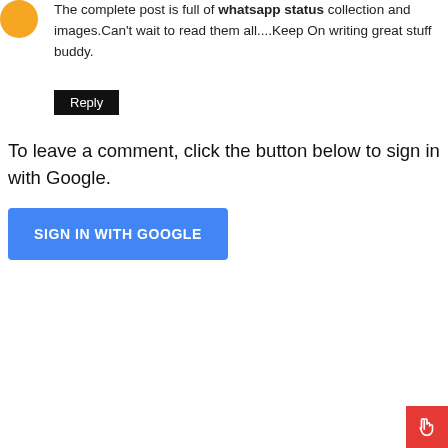[Figure (illustration): Orange circular avatar icon in top-left corner]
The complete post is full of whatsapp status collection and images.Can't wait to read them all....Keep On writing great stuff buddy.
Reply
To leave a comment, click the button below to sign in with Google.
[Figure (other): Blue button labeled SIGN IN WITH GOOGLE]
[Figure (other): Red square button with hand/cursor icon in bottom-right corner]